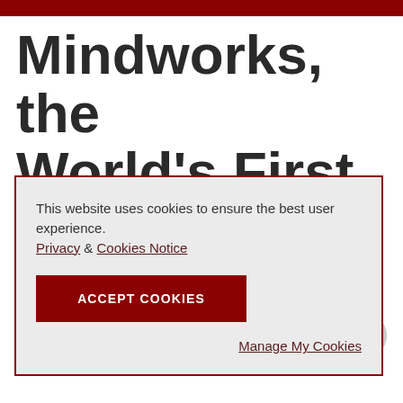Mindworks, the World's First Lab and
This website uses cookies to ensure the best user experience.
Privacy & Cookies Notice
ACCEPT COOKIES
Manage My Cookies
July 22, 2021
Share This Page